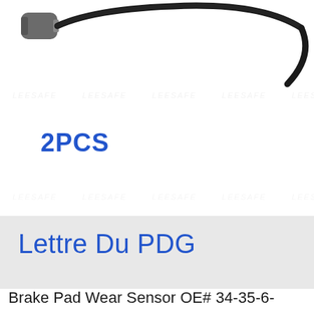[Figure (photo): Product photo of a brake pad wear sensor with gray connector plug and black cable/wire looping across white background. LEESAFE watermark repeated across the image.]
2PCS
Lettre Du PDG
Brake Pad Wear Sensor OE# 34-35-6-